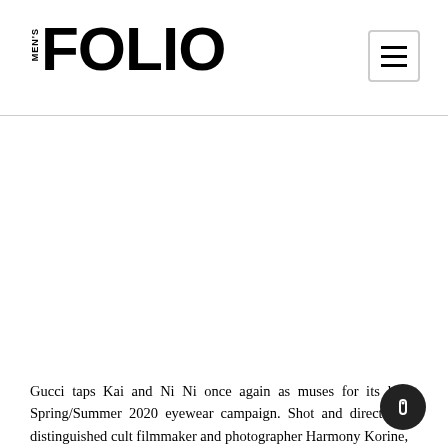MEN'S FOLIO
[Figure (screenshot): Search bar with placeholder text 'Type keyword to search', Malaysian flag icon, Facebook icon, and Instagram icon]
Gucci taps Kai and Ni Ni once again as muses for its latest Spring/Summer 2020 eyewear campaign. Shot and directed by distinguished cult filmmaker and photographer Harmony Korine,